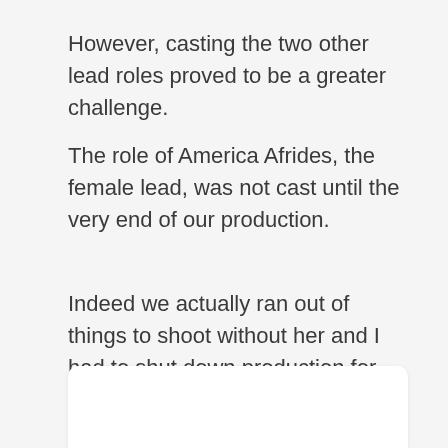However, casting the two other lead roles proved to be a greater challenge.
The role of America Afrides, the female lead, was not cast until the very end of our production.
Indeed we actually ran out of things to shoot without her and I had to shut down production for several weeks until I could find the right actress.
[Figure (other): White rounded rectangle box at the bottom of the page, partially visible]